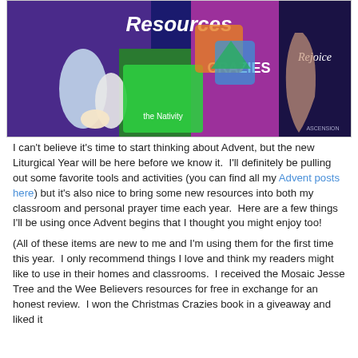[Figure (photo): A collage of Advent and Christmas religious educational resources including a nativity set, Christmas Crazies book, Rejoice book, and other colorful materials with text 'Resources' and 'Crazies' and 'Rejoice' visible.]
I can't believe it's time to start thinking about Advent, but the new Liturgical Year will be here before we know it.  I'll definitely be pulling out some favorite tools and activities (you can find all my Advent posts here) but it's also nice to bring some new resources into both my classroom and personal prayer time each year.  Here are a few things I'll be using once Advent begins that I thought you might enjoy too!
(All of these items are new to me and I'm using them for the first time this year.  I only recommend things I love and think my readers might like to use in their homes and classrooms.  I received the Mosaic Jesse Tree and the Wee Believers resources for free in exchange for an honest review.  I won the Christmas Crazies book in a giveaway and liked it